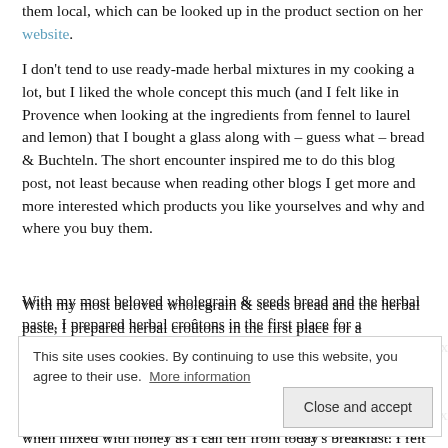them local, which can be looked up in the product section on her website.
I don't tend to use ready-made herbal mixtures in my cooking a lot, but I liked the whole concept this much (and I felt like in Provence when looking at the ingredients from fennel to laurel and lemon) that I bought a glass along with – guess what – bread & Buchteln. The short encounter inspired me to do this blog post, not least because when reading other blogs I get more and more interested which products you like yourselves and why and where you buy them.
With my most beloved wholegrain & seeds bread and the herbal paste, I prepared herbal croûtons in the first place for a b... a... M... c... when mixed with honey as I can tell from today's breakfast. I felt
This site uses cookies. By continuing to use this website, you agree to their use. More information
Close and accept